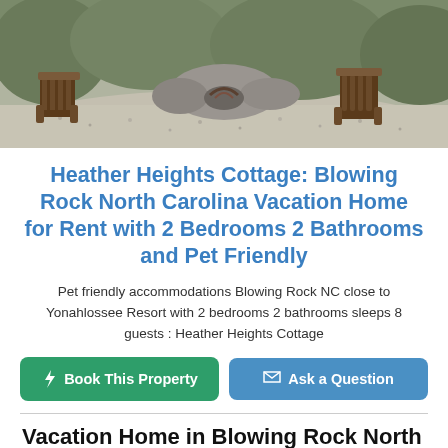[Figure (photo): Outdoor scene with brown Adirondack chairs arranged around a large stone fire pit on a gravel surface, surrounded by trees]
Heather Heights Cottage: Blowing Rock North Carolina Vacation Home for Rent with 2 Bedrooms 2 Bathrooms and Pet Friendly
Pet friendly accommodations Blowing Rock NC close to Yonahlossee Resort with 2 bedrooms 2 bathrooms sleeps 8 guests : Heather Heights Cottage
Book This Property | Ask a Question
Vacation Home in Blowing Rock North